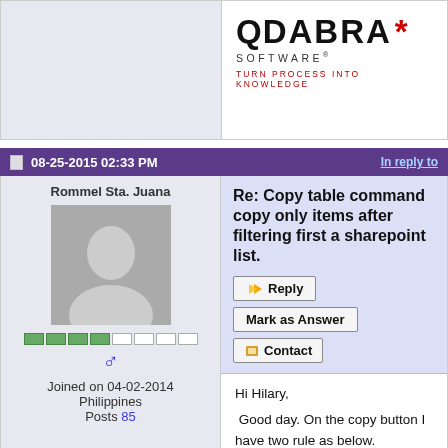[Figure (logo): Qdabra Software logo with tagline TURN PROCESS INTO KNOWLEDGE]
08-25-2015 02:33 PM  In reply to
Re: Copy table command copy only items after filtering first a sharepoint list.
Rommel Sta. Juana
Joined on 04-02-2014
Philippines
Posts 85
Hi Hilary,

 Good day. On the copy button I have two rule as below.

1. Delete /xpath=/my:myFields/my:Filtered/my:WIP

2. concat("Insert /parent=/my:myFields/my:Filtered /child=my:WIP /count=", Count)